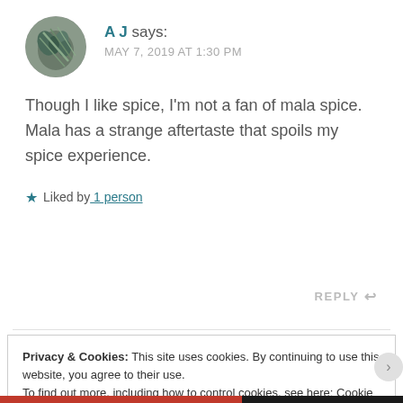A J says: MAY 7, 2019 AT 1:30 PM
Though I like spice, I'm not a fan of mala spice. Mala has a strange aftertaste that spoils my spice experience.
★ Liked by 1 person
REPLY ↩
Privacy & Cookies: This site uses cookies. By continuing to use this website, you agree to their use.
To find out more, including how to control cookies, see here: Cookie Policy
Close and accept